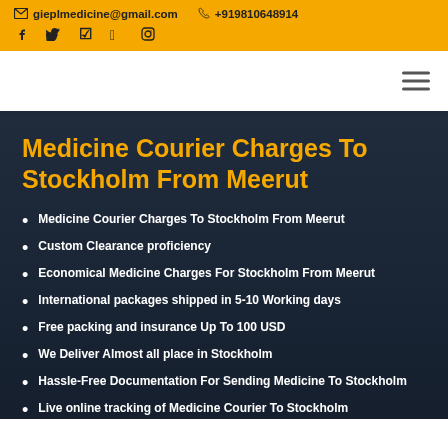gieplmedicine@gmail.com  +919810648914
Medicine Courier Charges To Stockholm From Meerut
Custom Clearance proficiency
Economical Medicine Charges For Stockholm From Meerut
International packages shipped in 5-10 Working days
Free packing and insurance Up To 100 USD
We Deliver Almost all place in Stockholm
Hassle-Free Documentation For Sending Medicine To Stockholm
Live online tracking of Medicine Courier To Stockholm